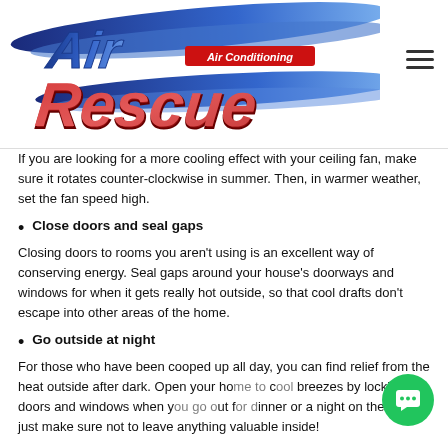[Figure (logo): Air Rescue Air Conditioning logo with blue swoosh and red/white lettering]
If you are looking for a more cooling effect with your ceiling fan, make sure it rotates counter-clockwise in summer. Then, in warmer weather, set the fan speed high.
Close doors and seal gaps
Closing doors to rooms you aren't using is an excellent way of conserving energy. Seal gaps around your house's doorways and windows for when it gets really hot outside, so that cool drafts don't escape into other areas of the home.
Go outside at night
For those who have been cooped up all day, you can find relief from the heat outside after dark. Open your home to cool breezes by locking doors and windows when you go out for dinner or a night on the town – just make sure not to leave anything valuable inside!